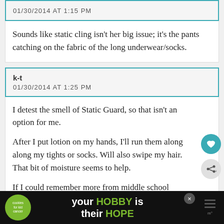01/30/2014 AT 1:15 PM
Sounds like static cling isn't her big issue; it's the pants catching on the fabric of the long underwear/socks.
k-t
01/30/2014 AT 1:25 PM
I detest the smell of Static Guard, so that isn't an option for me.

After I put lotion on my hands, I'll run them along along my tights or socks. Will also swipe my hair. That bit of moisture seems to help.

If I could remember more from middle school science class, I'd be able to tell you which combinations are more prone to static, but it didn't stick with me. My biggest challenge is when I get out of the car.
[Figure (infographic): Advertisement banner at bottom: cookies for kid cancer logo on green circle, text 'your HOBBY is their HOPE' in white and green on black background, with close button]